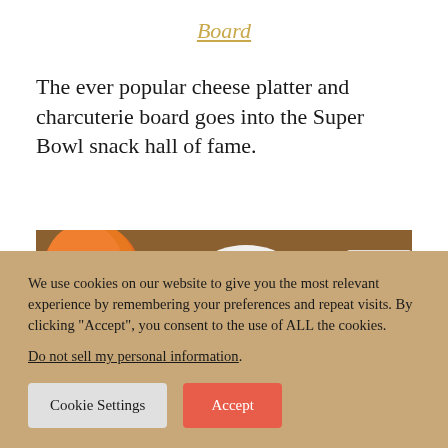Board
The ever popular cheese platter and charcuterie board goes into the Super Bowl snack hall of fame.
[Figure (photo): Close-up photo of a charcuterie/cheese board with fruits, cheeses, crackers, and bowls of dips or spreads.]
We use cookies on our website to give you the most relevant experience by remembering your preferences and repeat visits. By clicking “Accept”, you consent to the use of ALL the cookies.
Do not sell my personal information.